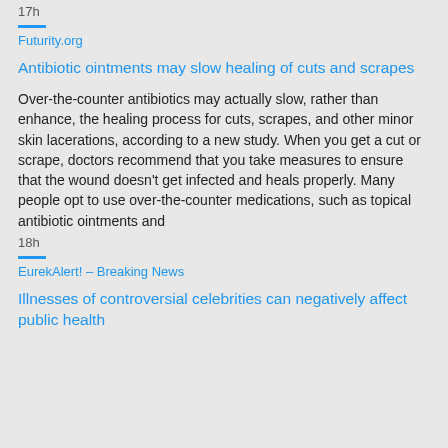17h
Futurity.org
Antibiotic ointments may slow healing of cuts and scrapes
Over-the-counter antibiotics may actually slow, rather than enhance, the healing process for cuts, scrapes, and other minor skin lacerations, according to a new study. When you get a cut or scrape, doctors recommend that you take measures to ensure that the wound doesn't get infected and heals properly. Many people opt to use over-the-counter medications, such as topical antibiotic ointments and
18h
EurekAlert! – Breaking News
Illnesses of controversial celebrities can negatively affect public health